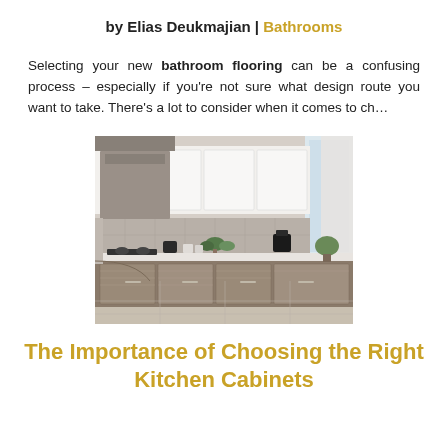by Elias Deukmajian | Bathrooms
Selecting your new bathroom flooring can be a confusing process – especially if you're not sure what design route you want to take. There's a lot to consider when it comes to ch…
[Figure (photo): Modern kitchen interior with white upper cabinets, wood-grain lower cabinets, white countertops, range hood, and various kitchen appliances on the counter.]
The Importance of Choosing the Right Kitchen Cabinets